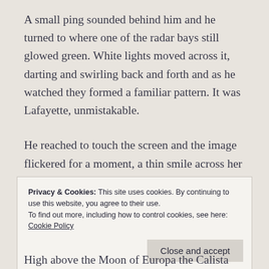A small ping sounded behind him and he turned to where one of the radar bays still glowed green. White lights moved across it, darting and swirling back and forth and as he watched they formed a familiar pattern. It was Lafayette, unmistakable.
He reached to touch the screen and the image flickered for a moment, a thin smile across her face. He knew she could see him, just as he
Privacy & Cookies: This site uses cookies. By continuing to use this website, you agree to their use.
To find out more, including how to control cookies, see here:
Cookie Policy
High above the Moon of Europa the Calista